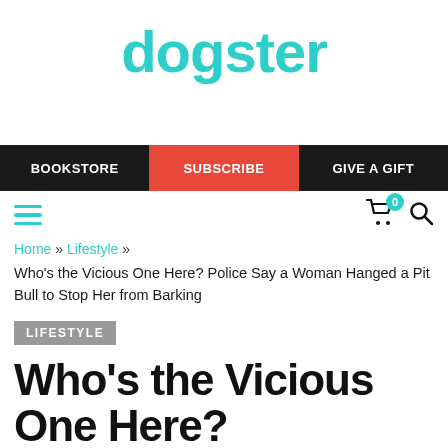dogster
BOOKSTORE   SUBSCRIBE   GIVE A GIFT
Home » Lifestyle »
Who's the Vicious One Here? Police Say a Woman Hanged a Pit Bull to Stop Her from Barking
LIFESTYLE
Who's the Vicious One Here?